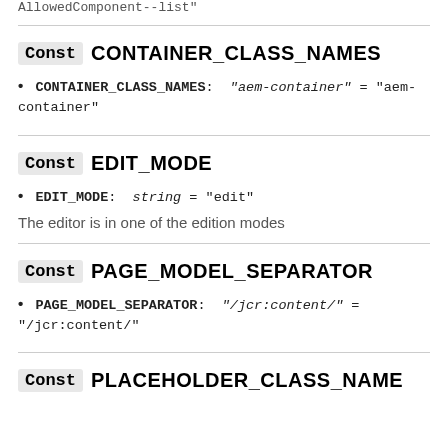AllowedComponent--list"
Const CONTAINER_CLASS_NAMES
• CONTAINER_CLASS_NAMES: "aem-container" = "aem-container"
Const EDIT_MODE
• EDIT_MODE: string = "edit"
The editor is in one of the edition modes
Const PAGE_MODEL_SEPARATOR
• PAGE_MODEL_SEPARATOR: "/jcr:content/" = "/jcr:content/"
Const PLACEHOLDER_CLASS_NAME